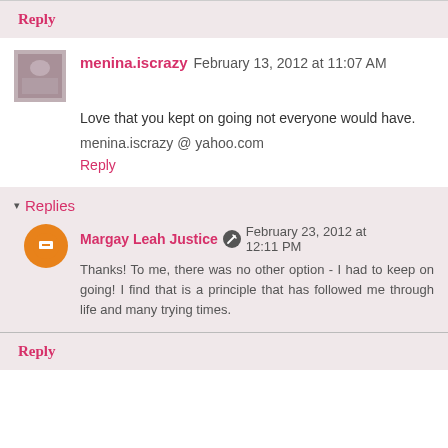Reply
menina.iscrazy  February 13, 2012 at 11:07 AM
Love that you kept on going not everyone would have.
menina.iscrazy @ yahoo.com
Reply
▾ Replies
Margay Leah Justice  February 23, 2012 at 12:11 PM
Thanks! To me, there was no other option - I had to keep on going! I find that is a principle that has followed me through life and many trying times.
Reply